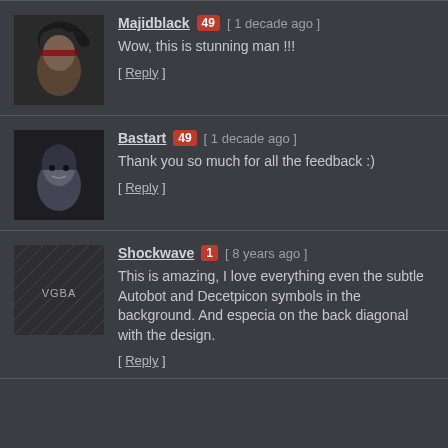Majidblack 49 [ 1 decade ago ] Wow, this is stunning man !!! [ Reply ]
Bastart 49 [ 1 decade ago ] Thank you so much for all the feedback :) [ Reply ]
Shockwave 1 [ 8 years ago ] This is amazing, I love everything even the subtle Autobot and Decetpicon symbols in the background. And especia on the back diagonal with the design. [ Reply ]